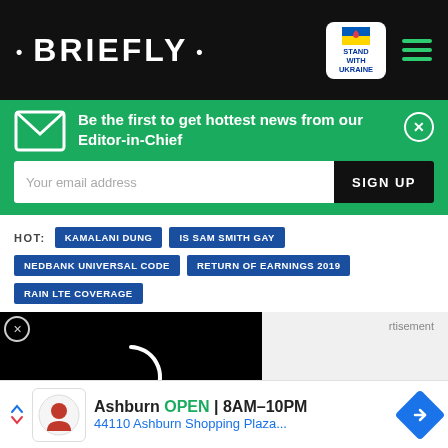• BRIEFLY •
Be the first to get hottest news from our Editor-in-Chief
HOT: KAMALANI DUNG | IS SAM SMITH GAY | NEDBANK UNIVERSAL CODE | RETURN OF EARNINGS 2019 | RAIN LTE COVERAGE
[Figure (screenshot): Video player loading spinner on black background]
Ashburn OPEN 8AM–10PM 44110 Ashburn Shopping Plaza...